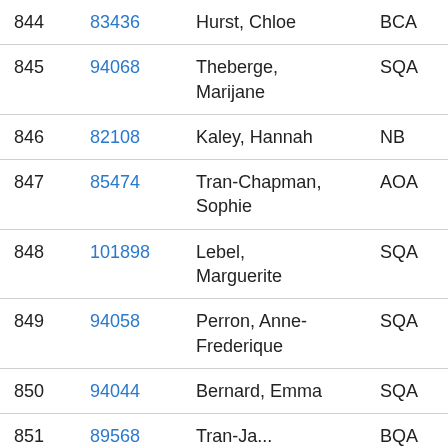| # | ID | Name | Code1 | Code2 |
| --- | --- | --- | --- | --- |
| 844 | 83436 | Hurst, Chloe | BCA | SPAC |
| 845 | 94068 | Theberge, Marijane | SQA | MASUD |
| 846 | 82108 | Kaley, Hannah | NB | CMRC |
| 847 | 85474 | Tran-Chapman, Sophie | AOA | MSFLD |
| 848 | 101898 | Lebel, Marguerite | SQA | BROM |
| 849 | 94058 | Perron, Anne-Frederique | SQA | OWLS |
| 850 | 94044 | Bernard, Emma | SQA | PIN |
| 851 | 89568 | Tran-Ja... | BQA | FERN |